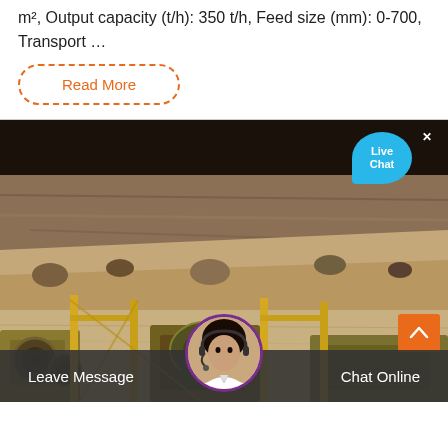m², Output capacity (t/h): 350 t/h, Feed size (mm): 0-700, Transport …
Read More
[Figure (photo): Quarry/mining site with heavy industrial equipment in the foreground and rocky terrain/cliff face in the background. A live chat bubble overlay appears in the top right corner.]
Leave Message
Chat Online